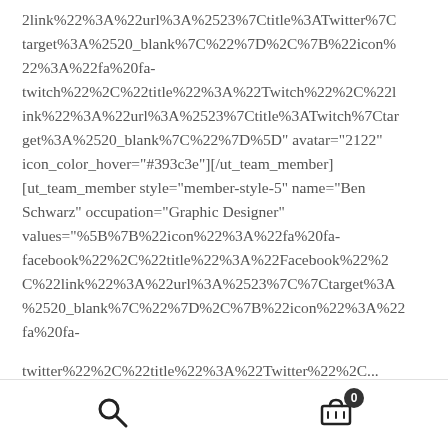2link%22%3A%22url%3A%2523%7Ctitle%3ATwitter%7Ctarget%3A%2520_blank%7C%22%7D%2C%7B%22icon%22%3A%22fa%20fa-twitch%22%2C%22title%22%3A%22Twitch%22%2C%22link%22%3A%22url%3A%2523%7Ctitle%3ATwitch%7Ctarget%3A%2520_blank%7C%22%7D%5D" avatar="2122" icon_color_hover="#393c3e"][/ut_team_member] [ut_team_member style="member-style-5" name="Ben Schwarz" occupation="Graphic Designer" values="%5B%7B%22icon%22%3A%22fa%20fa-facebook%22%2C%22title%22%3A%22Facebook%22%2C%22link%22%3A%22url%3A%2523%7C%7Ctarget%3A%2520_blank%7C%22%7D%2C%7B%22icon%22%3A%22fa%20fa-
twitter%22%2C%22title%22%3A%22Twitter%22%2C...
search icon  cart icon with badge 0